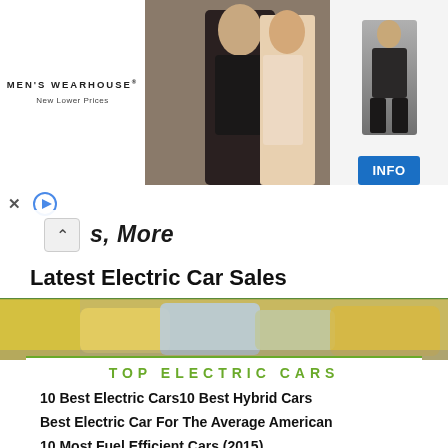[Figure (photo): Men's Wearhouse advertisement banner showing a couple in formal wear, a man in a suit on the right, and an INFO button]
s, More
Latest Electric Car Sales
[Figure (photo): Background image of colorful electric cars in a parking area]
TOP ELECTRIC CARS
10 Best Electric Cars10 Best Hybrid Cars
Best Electric Car For The Average American
10 Most Fuel Efficient Cars (2015)
11 Electric Cars With Most Range
17 Quickest Electric Cars